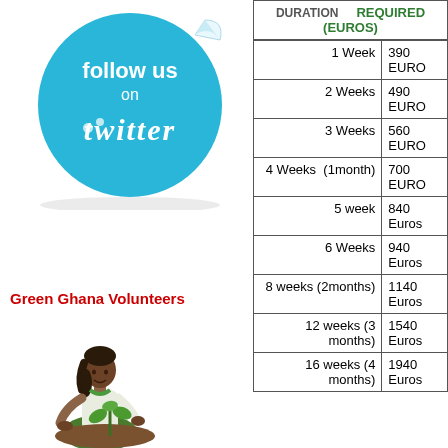[Figure (illustration): Follow us on Twitter sticker — circular light blue badge with white text 'follow us on' and 'twitter' in stylized font]
Green Ghana Volunteers
[Figure (illustration): Illustration of a girl in green skirt and white shirt planting a small tree seedling]
| DURATION | REQUIRED (EUROS) |
| --- | --- |
| 1 Week | 390 EURO |
| 2 Weeks | 490 EURO |
| 3 Weeks | 560 EURO |
| 4 Weeks (1month) | 700 EURO |
| 5 week | 840 Euros |
| 6 Weeks | 940 Euros |
| 8 weeks (2months) | 1140 Euros |
| 12 weeks (3 months) | 1540 Euros |
| 16 weeks (4 months) | 1940 Euros |